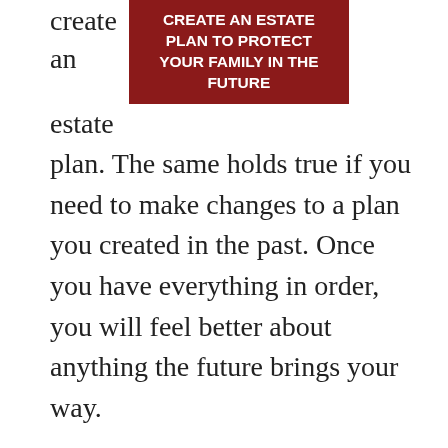[Figure (other): Dark red banner with bold white text reading 'CREATE AN ESTATE PLAN TO PROTECT YOUR FAMILY IN THE FUTURE']
create an estate plan. The same holds true if you need to make changes to a plan you created in the past. Once you have everything in order, you will feel better about anything the future brings your way.
There are times when you may need to consult with a Wisconsin estate planning attorney. If you realize that now is the time for professional help, the best thing you can do is reach out to an attorney who can